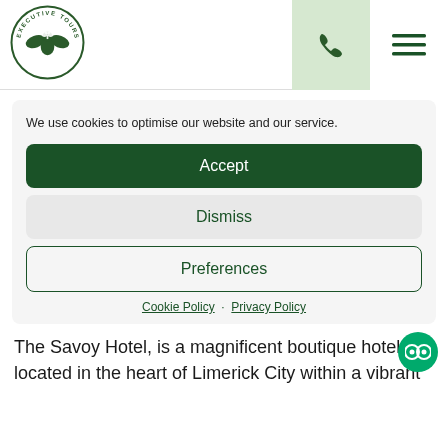[Figure (logo): Executive Tours circular logo with shamrock and eagle motif, green and white]
We use cookies to optimise our website and our service.
Accept
Dismiss
Preferences
Cookie Policy · Privacy Policy
The Savoy Hotel, is a magnificent boutique hotel located in the heart of Limerick City within a vibrant